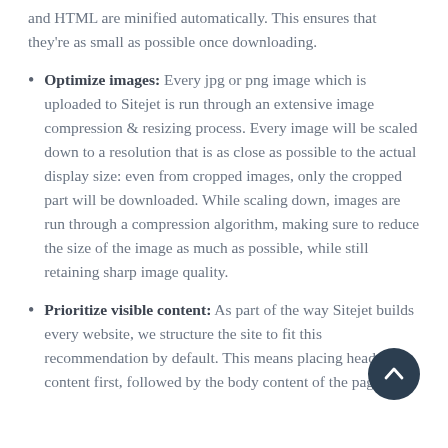and HTML are minified automatically. This ensures that they're as small as possible once downloading.
Optimize images: Every jpg or png image which is uploaded to Sitejet is run through an extensive image compression & resizing process. Every image will be scaled down to a resolution that is as close as possible to the actual display size: even from cropped images, only the cropped part will be downloaded. While scaling down, images are run through a compression algorithm, making sure to reduce the size of the image as much as possible, while still retaining sharp image quality.
Prioritize visible content: As part of the way Sitejet builds every website, we structure the site to fit this recommendation by default. This means placing header content first, followed by the body content of the page.